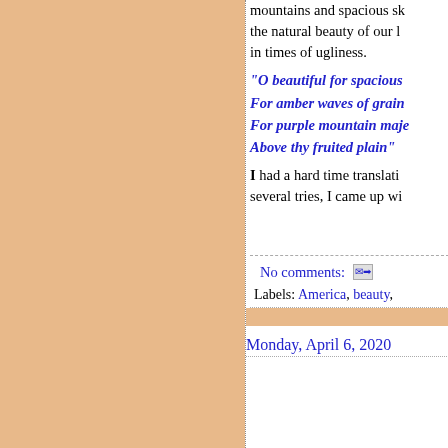mountains and spacious skies... the natural beauty of our land... in times of ugliness.
"O beautiful for spacious skies / For amber waves of grain / For purple mountain majesties / Above thy fruited plain"
I had a hard time translating... several tries, I came up wi...
No comments:
Labels: America, beauty,
Monday, April 6, 2020